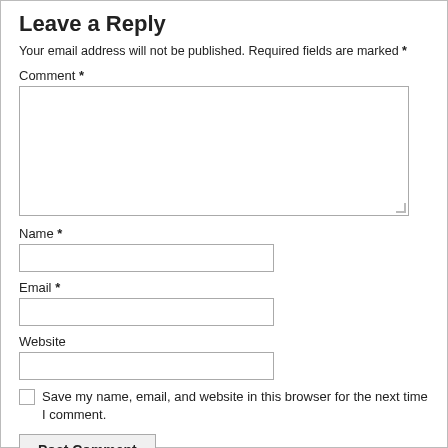Leave a Reply
Your email address will not be published. Required fields are marked *
Comment *
Name *
Email *
Website
Save my name, email, and website in this browser for the next time I comment.
Post Comment